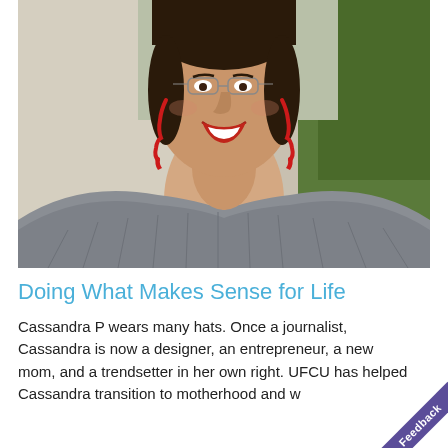[Figure (photo): Portrait photo of a smiling woman with red drop earrings and red lipstick, wearing a gray off-shoulder ribbed sweater, with a blurred outdoor background of greenery and a wall.]
Doing What Makes Sense for Life
Cassandra P wears many hats. Once a journalist, Cassandra is now a designer, an entrepreneur, a new mom, and a trendsetter in her own right. UFCU has helped Cassandra transition to motherhood and w